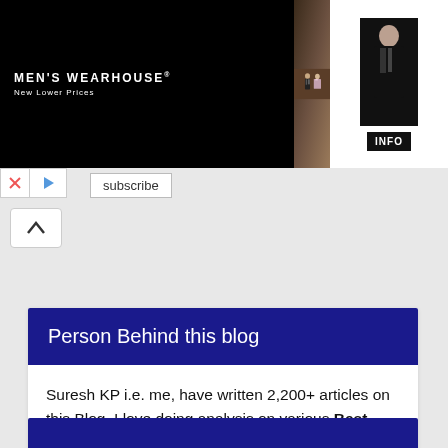[Figure (photo): Men's Wearhouse advertisement banner showing a couple in formal wear and a man in a tuxedo, with an INFO button]
subscribe
Person Behind this blog
Suresh KP i.e. me, have written 2,200+ articles on this Blog. I love doing analysis on various Best Investment Plans like mutual funds, Stocks, IPO’s, NCD Bonds, Insurance products.